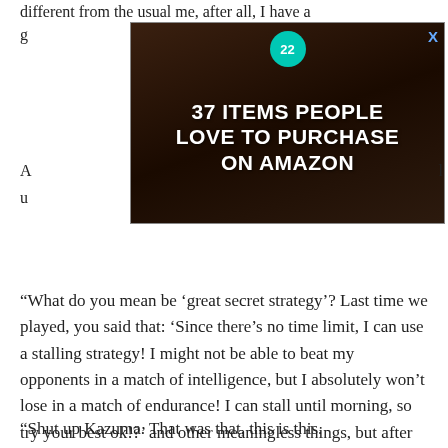different from the usual me, after all, I have a g…
[Figure (photo): Advertisement banner: '37 ITEMS PEOPLE LOVE TO PURCHASE ON AMAZON' with a teal badge showing '22', displayed over a dark background with kitchen items. Has an X close button.]
A… l u…
“What do you mean be ‘great secret strategy’? Last time we played, you said that: ‘Since there’s no time limit, I can use a stalling strategy! I might not be able to beat my opponents in a match of intelligence, but I absolutely won’t lose in a match of endurance! I can stall until morning, so try your best ok!?’ and other meaningless things, but after we started you fell asleep in 10 minutes you know?” [CLOSE]
“Shut up Kazuma. That was that, this is this.